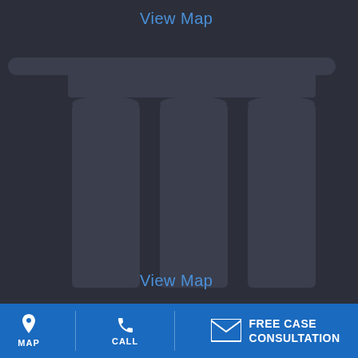View Map
[Figure (logo): Law firm logo showing Greek/Roman pillar columns — three columns with a horizontal beam on top, rendered as a dark watermark-style graphic on dark background]
View Map
[Figure (infographic): Bottom navigation bar with MAP (location pin icon), CALL (phone icon), and FREE CASE CONSULTATION (envelope icon) buttons on blue background]